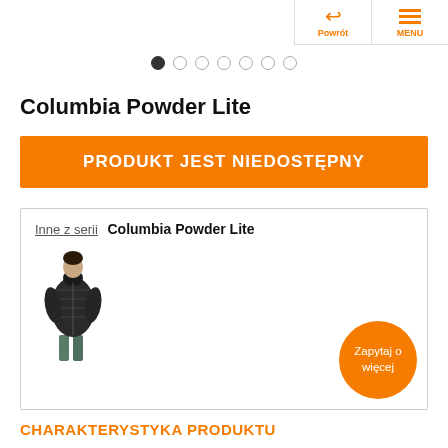Powrót | MENU
[Figure (other): Pagination dots, first dot filled/active, six empty circles]
Columbia Powder Lite
PRODUKT JEST NIEDOSTĘPNY
[Figure (other): Series box with jacket photo and Zapytaj o więcej button. Inne z serii Columbia Powder Lite. Dark patterned puffer jacket worn by a person.]
CHARAKTERYSTYKA PRODUKTU